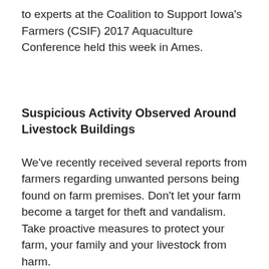to experts at the Coalition to Support Iowa's Farmers (CSIF) 2017 Aquaculture Conference held this week in Ames.
Suspicious Activity Observed Around Livestock Buildings
We've recently received several reports from farmers regarding unwanted persons being found on farm premises. Don't let your farm become a target for theft and vandalism. Take proactive measures to protect your farm, your family and your livestock from harm.
Save the Date: Jan 17th | 10 – 4:30 P.M.
2018 Farming for the Future Conference